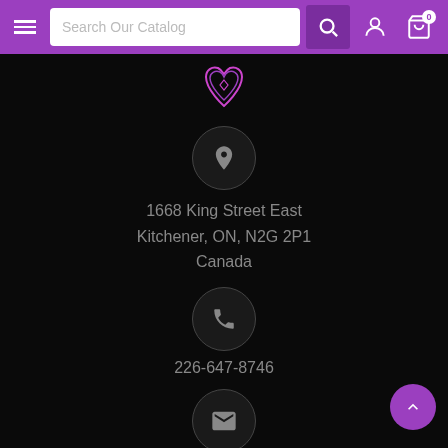Search Our Catalog — navigation bar with hamburger menu, search, user and cart icons
[Figure (logo): Chimera Gaming logo — purple heart/shield shape with layered geometric design]
[Figure (illustration): Grey circle with location pin icon]
1668 King Street East
Kitchener, ON, N2G 2P1
Canada
[Figure (illustration): Grey circle with phone/handset icon]
226-647-8746
[Figure (illustration): Grey circle with envelope/email icon]
chimeragamingonline@gmail.com
STORE HOURS